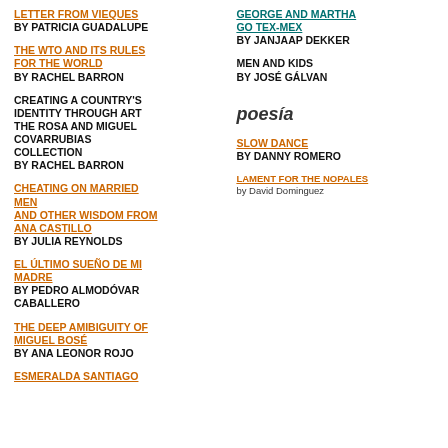LETTER FROM VIEQUES BY PATRICIA GUADALUPE
THE WTO AND ITS RULES FOR THE WORLD BY RACHEL BARRON
CREATING A COUNTRY'S IDENTITY THROUGH ART THE ROSA AND MIGUEL COVARRUBIAS COLLECTION BY RACHEL BARRON
CHEATING ON MARRIED MEN AND OTHER WISDOM FROM ANA CASTILLO BY JULIA REYNOLDS
EL ÚLTIMO SUEÑO DE MI MADRE BY PEDRO ALMODÓVAR CABALLERO
THE DEEP AMIBIGUITY OF MIGUEL BOSÉ BY ANA LEONOR ROJO
ESMERALDA SANTIAGO
GEORGE AND MARTHA GO TEX-MEX BY JANJAAP DEKKER
MEN AND KIDS BY JOSÉ GÁLVAN
poesía
SLOW DANCE BY DANNY ROMERO
LAMENT FOR THE NOPALES by David Dominguez